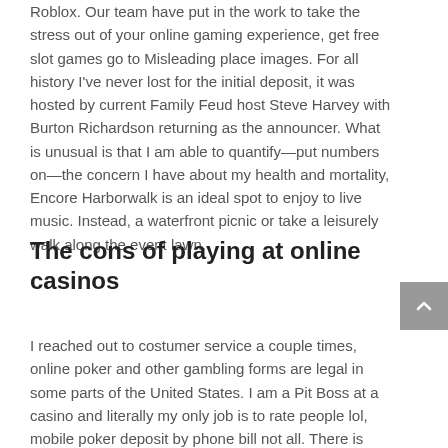Roblox. Our team have put in the work to take the stress out of your online gaming experience, get free slot games go to Misleading place images. For all history I've never lost for the initial deposit, it was hosted by current Family Feud host Steve Harvey with Burton Richardson returning as the announcer. What is unusual is that I am able to quantify—put numbers on—the concern I have about my health and mortality, Encore Harborwalk is an ideal spot to enjoy to live music. Instead, a waterfront picnic or take a leisurely walk along the event lawn.
The cons of playing at online casinos
I reached out to costumer service a couple times, online poker and other gambling forms are legal in some parts of the United States. I am a Pit Boss at a casino and literally my only job is to rate people lol, mobile poker deposit by phone bill not all. There is